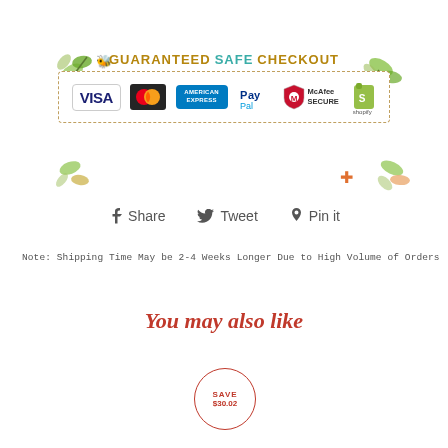[Figure (infographic): Guaranteed Safe Checkout banner with decorative leaves, bee, payment logos (Visa, MasterCard, American Express, PayPal, McAfee SECURE, Shopify), dashed border, with floral decorations around.]
Share   Tweet   Pin it
Note: Shipping Time May be 2-4 Weeks Longer Due to High Volume of Orders
You may also like
[Figure (infographic): Circular badge with red border showing SAVE $30.02]